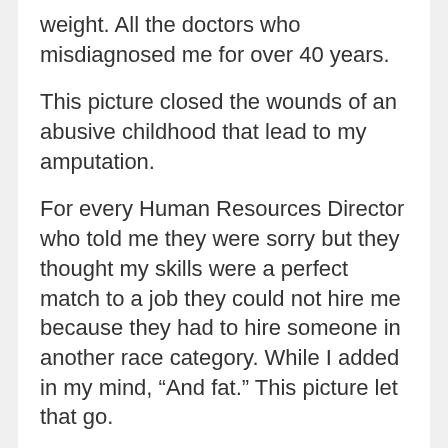weight. All the doctors who misdiagnosed me for over 40 years.
This picture closed the wounds of an abusive childhood that lead to my amputation.
For every Human Resources Director who told me they were sorry but they thought my skills were a perfect match to a job they could not hire me because they had to hire someone in another race category. While I added in my mind, “And fat.” This picture let that go.
My heart has carried so much for 57